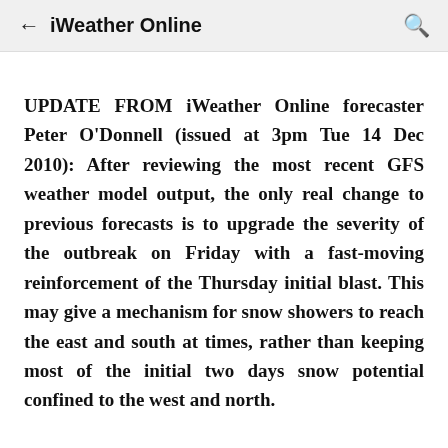iWeather Online
UPDATE FROM iWeather Online forecaster Peter O'Donnell (issued at 3pm Tue 14 Dec 2010): After reviewing the most recent GFS weather model output, the only real change to previous forecasts is to upgrade the severity of the outbreak on Friday with a fast-moving reinforcement of the Thursday initial blast. This may give a mechanism for snow showers to reach the east and south at times, rather than keeping most of the initial two days snow potential confined to the west and north.